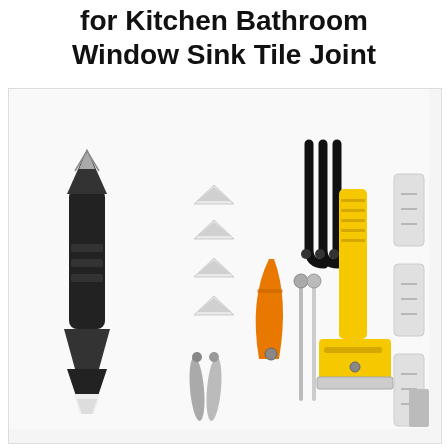for Kitchen Bathroom Window Sink Tile Joint
[Figure (photo): Product photo showing a caulking tool kit with multiple components: a black multi-function caulk tool with pointed head and scraper base, four white triangular silicone finishing pads, two silver metal spreader tools, an orange folding caulk remover knife, three black hook-shaped caulk removal tools, two silver ball-tipped needles/pins, a yellow-handled floor scraper/ice scraper tool, and three white rectangular sanding sponge blocks, all arranged on a white background.]